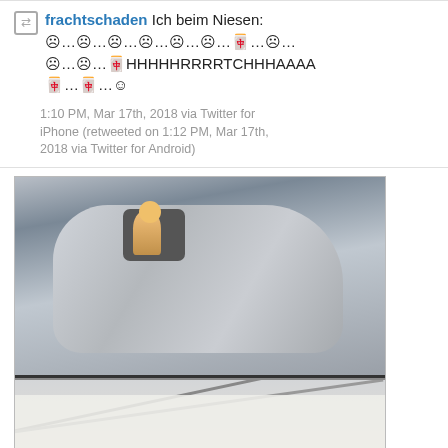frachtschaden Ich beim Niesen: ☹️…☹️…☹️…☹️…☹️…☹️…🀄…☹️…☹️…☹️…🀄HHHHHRRRRTCHHHAAAA🀄…🀄…☺️
1:10 PM, Mar 17th, 2018 via Twitter for iPhone (retweeted on 1:12 PM, Mar 17th, 2018 via Twitter for Android)
[Figure (photo): Two-part photo: top half shows a car covered with a grey cover/tarp with a person visible poking out; bottom half shows a person under a white tent or tarp on the street.]
urbanthoughts11 Excuse me, while I claim my street space (clever camouflage, now no one thinks it's a waste of space)

via @mrdoob